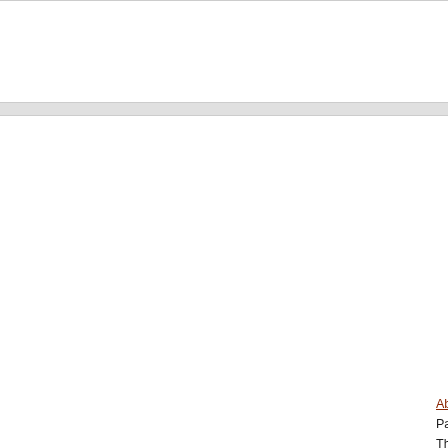Christopher Krueger UC Santa Barbara
Hovav Shacham University of California, Sa…
IEEE Journal of Selected Topics in Appli 2…
NordSec 2022   The 27th Nordic Conferen…
ICCSN 2023   IEEE--2023 15th Internation…
SPIoT 2022   The 11th International Symp…
IEEE ICA 2022   The 6th IEEE Internationa…
EvoCompAISecurity&Privacy 2022   Evolu… applications
ACNS 2023   21st International Conferenc…
IEEE SSCI 2023   2023 IEEE Symposium…
SPACE 2022   12th International Conferen…
SSCI 2023   2023 IEEE Symposium Series…
About Us | Contact Us | Data | Privacy Policy | Terms a… Partners: AI2's Semantic Scholar This wiki is licensed under a Creative Commons Attribu…